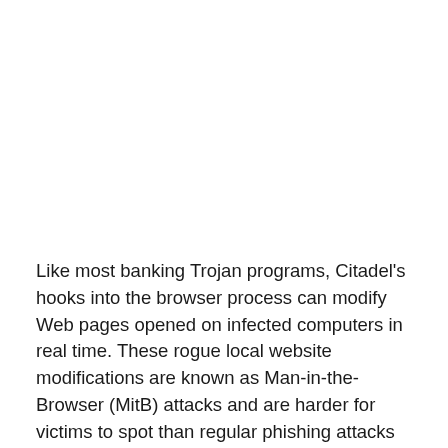Like most banking Trojan programs, Citadel's hooks into the browser process can modify Web pages opened on infected computers in real time. These rogue local website modifications are known as Man-in-the-Browser (MitB) attacks and are harder for victims to spot than regular phishing attacks because the URLs displayed in the browser address bar are those of legitimate websites.